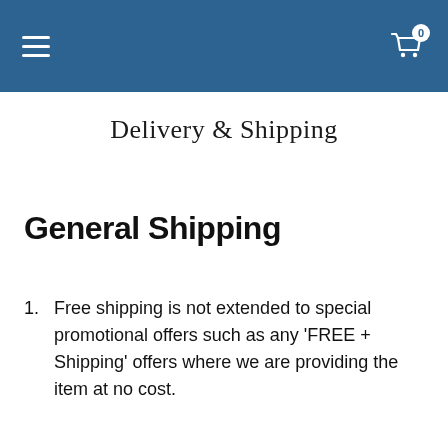Navigation menu | Cart (0)
Delivery & Shipping
General Shipping
Free shipping is not extended to special promotional offers such as any 'FREE + Shipping' offers where we are providing the item at no cost.